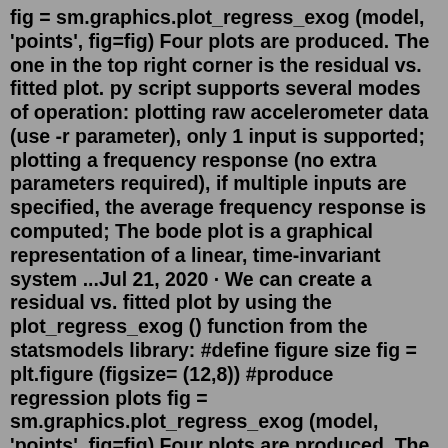fig = sm.graphics.plot_regress_exog (model, 'points', fig=fig) Four plots are produced. The one in the top right corner is the residual vs. fitted plot. py script supports several modes of operation: plotting raw accelerometer data (use -r parameter), only 1 input is supported; plotting a frequency response (no extra parameters required), if multiple inputs are specified, the average frequency response is computed; The bode plot is a graphical representation of a linear, time-invariant system ...Jul 21, 2020 · We can create a residual vs. fitted plot by using the plot_regress_exog () function from the statsmodels library: #define figure size fig = plt.figure (figsize= (12,8)) #produce regression plots fig = sm.graphics.plot_regress_exog (model, 'points', fig=fig) Four plots are produced. The one in the top right corner is the residual vs. fitted plot. In this example, we will plot the x-axis accelerometer data. First, under the 'Insert' tab on the toolbar select a 2-D line plot. Once the blank plot appears, right click anywhere on the blank area and click 'Select Data'. A separate window will now